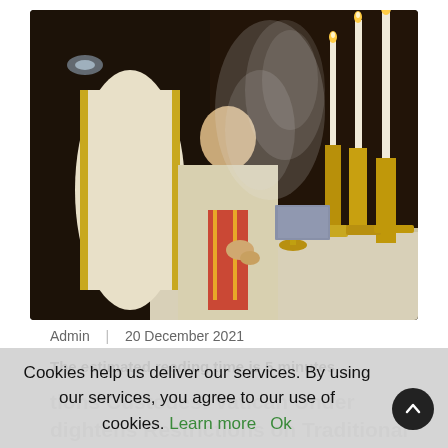[Figure (photo): Two priests in white vestments performing a Latin Mass at an ornate altar with tall lit candles and incense smoke rising, dark church interior background.]
Admin  |  20 December 2021
The estimated reading time is 5 minutes
tions Custodes: Vatican Under
dightens Restrictions on Traditional
Latin Mass
Cookies help us deliver our services. By using our services, you agree to our use of cookies. Learn more  Ok